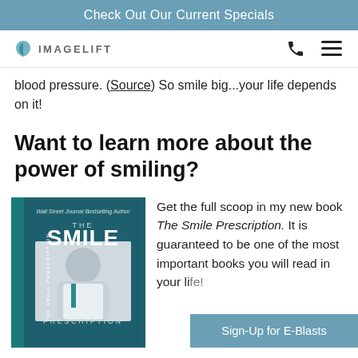Check Out Our Current Specials
[Figure (logo): ImageLift logo with teal leaf icon and text IMAGELIFT]
blood pressure. (Source) So smile big...your life depends on it!
Want to learn more about the power of smiling?
[Figure (photo): Book cover of The Smile Prescription by a Wall Street Journal Bestselling Author, showing a smiling man in a white coat]
Get the full scoop in my new book The Smile Prescription. It is guaranteed to be one of the most important books you will read in your life!